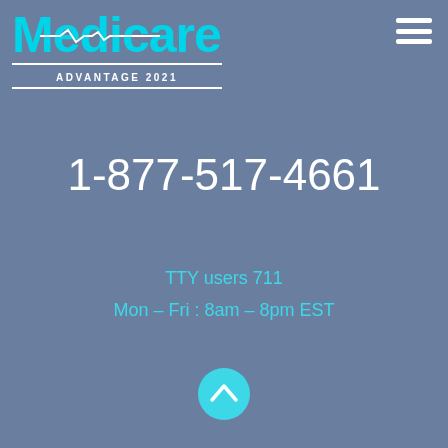[Figure (logo): Medicare Advantage 2021 logo with cyan text and heartbeat line graphic, white horizontal lines under text]
[Figure (other): Hamburger menu icon (three white horizontal lines) in top right corner]
1-877-517-4661
TTY users 711
Mon – Fri : 8am – 8pm EST
[Figure (other): Cyan circular back-to-top button with white chevron/arrow pointing upward]